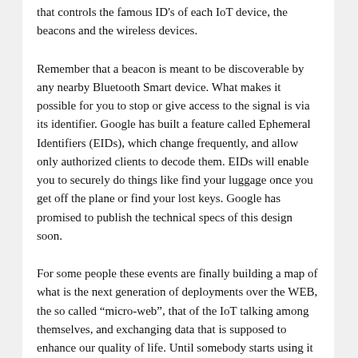that controls the famous ID's of each IoT device, the beacons and the wireless devices.
Remember that a beacon is meant to be discoverable by any nearby Bluetooth Smart device. What makes it possible for you to stop or give access to the signal is via its identifier. Google has built a feature called Ephemeral Identifiers (EIDs), which change frequently, and allow only authorized clients to decode them. EIDs will enable you to securely do things like find your luggage once you get off the plane or find your lost keys. Google has promised to publish the technical specs of this design soon.
For some people these events are finally building a map of what is the next generation of deployments over the WEB, the so called “micro-web”, that of the IoT talking among themselves, and exchanging data that is supposed to enhance our quality of life. Until somebody starts using it for the wrong purposes….
In the meantime, watching how Facebook is trying to dominate the space by giving away the Hardware and